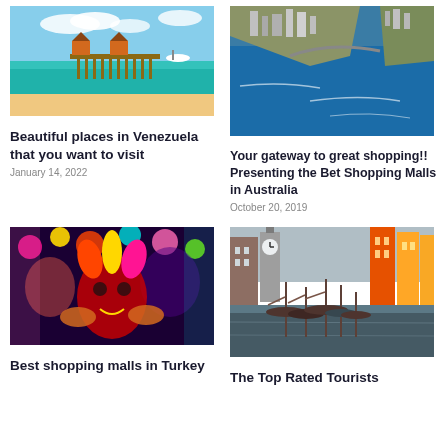[Figure (photo): Aerial view of tropical overwater bungalows and turquoise water, Venezuela]
Beautiful places in Venezuela that you want to visit
January 14, 2022
[Figure (photo): Aerial view of Sydney harbour and city coastline, Australia]
Your gateway to great shopping!! Presenting the Bet Shopping Malls in Australia
October 20, 2019
[Figure (photo): Colorful carnival scene with masks and festive decorations, Turkey]
Best shopping malls in Turkey
[Figure (photo): Nyhavn canal with sailing boats and colorful buildings, Denmark]
The Top Rated Tourists